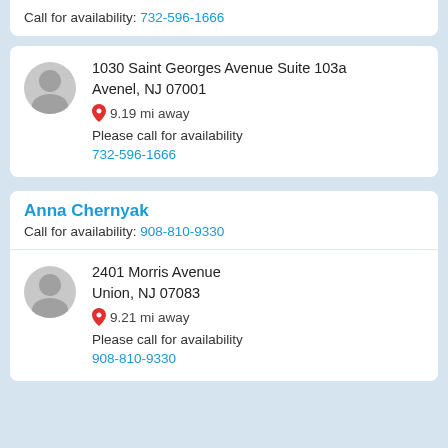Call for availability: 732-596-1666
1030 Saint Georges Avenue Suite 103a
Avenel, NJ 07001
9.19 mi away
Please call for availability
732-596-1666
Anna Chernyak
Call for availability: 908-810-9330
2401 Morris Avenue
Union, NJ 07083
9.21 mi away
Please call for availability
908-810-9330